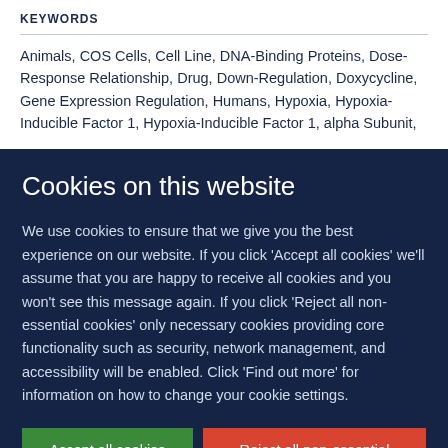KEYWORDS
Animals, COS Cells, Cell Line, DNA-Binding Proteins, Dose-Response Relationship, Drug, Down-Regulation, Doxycycline, Gene Expression Regulation, Humans, Hypoxia, Hypoxia-Inducible Factor 1, Hypoxia-Inducible Factor 1, alpha Subunit,
Cookies on this website
We use cookies to ensure that we give you the best experience on our website. If you click 'Accept all cookies' we'll assume that you are happy to receive all cookies and you won't see this message again. If you click 'Reject all non-essential cookies' only necessary cookies providing core functionality such as security, network management, and accessibility will be enabled. Click 'Find out more' for information on how to change your cookie settings.
Accept all cookies
Reject all non-essential cookies